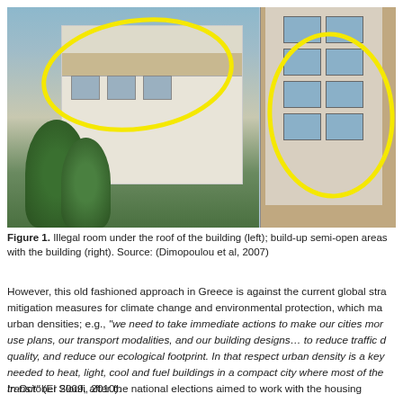[Figure (photo): Two photographs side by side. Left: A white multi-story residential building with balconies; a yellow ellipse highlights an illegal room under the roof. Right: A red-brick multi-story building with large windows; a yellow ellipse highlights build-up semi-open areas within the building.]
Figure 1. Illegal room under the roof of the building (left); build-up semi-open areas with the building (right). Source: (Dimopoulou et al, 2007)
However, this old fashioned approach in Greece is against the current global stra mitigation measures for climate change and environmental protection, which ma urban densities; e.g., "we need to take immediate actions to make our cities mor use plans, our transport modalities, and our building designs… to reduce traffic d quality, and reduce our ecological footprint. In that respect urban density is a key needed to heat, light, cool and fuel buildings in a compact city where most of the transit" (El Sioufi, 2010).
In October 2009, after the national elections aimed to work with the housing